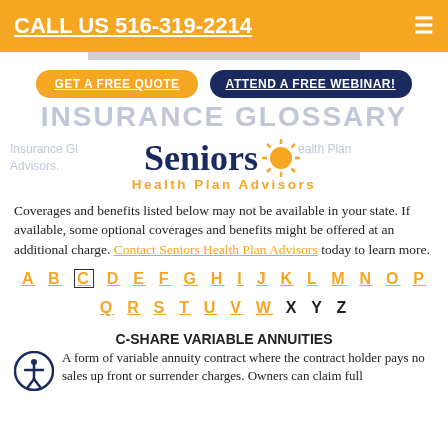CALL US 516-319-2214
GET A FREE QUOTE   ATTEND A FREE WEBINAR!
INSURANCE GLOSSARY
[Figure (logo): Seniors Health Plan Advisors logo with sun graphic and background text about insurance glossary]
Coverages and benefits listed below may not be available in your state. If available, some optional coverages and benefits might be offered at an additional charge. Contact Seniors Health Plan Advisors today to learn more.
A B C D E F G H I J K L M N O P Q R S T U V W X Y Z
C-SHARE VARIABLE ANNUITIES
A form of variable annuity contract where the contract holder pays no sales up front or surrender charges. Owners can claim full